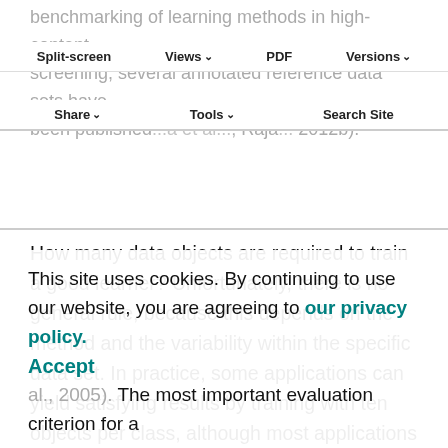benchmarking of learning methods in high-content screening, several annotated reference data sets have been published ... ; Raja... 2012b).
Split-screen | Views | PDF | Versions | Share | Tools | Search Site
How many data objects are required to train a good learner? Unfortunately, there is no general rule, because this depends on the method and the variability within the specific data set. In practice, some applications can yield satisfying results by training with ten objects per class, although most applications will require substantially more. Discriminative methods typically need more training objects to achieve a satisfactory performance than do generative models (Ng and Jordan, 2002). Irrespective of
This site uses cookies. By continuing to use our website, you are agreeing to our privacy policy.
Accept
... r of ... ples (Hastie ... 05). The most important evaluation criterion for a